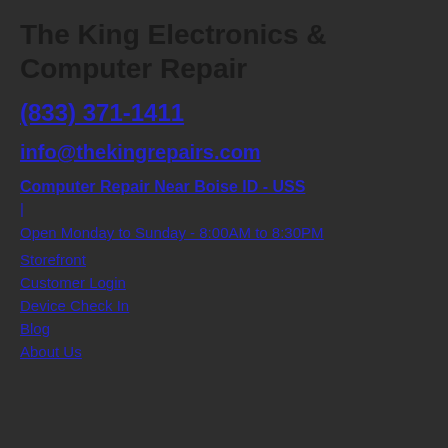The King Electronics & Computer Repair
(833) 371-1411
info@thekingrepairs.com
Computer Repair Near Boise ID - USS
|
Open Monday to Sunday - 8:00AM to 8:30PM
Storefront
Customer Login
Device Check In
Blog
About Us